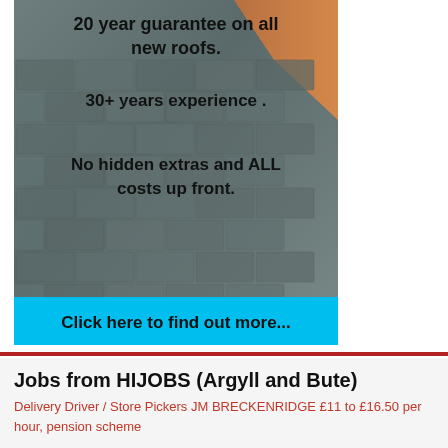[Figure (photo): Photo of a slate roof with text overlay advertising roofing services. Text reads: '20 year guarantee on all new roofs. 30+ years experience. No hidden extras and ALL costs up front.' A cyan/blue button at the bottom reads 'Click here to find out more...']
Jobs from HIJOBS (Argyll and Bute)
Delivery Driver / Store Pickers JM BRECKENRIDGE £11 to £16.50 per hour, pension scheme